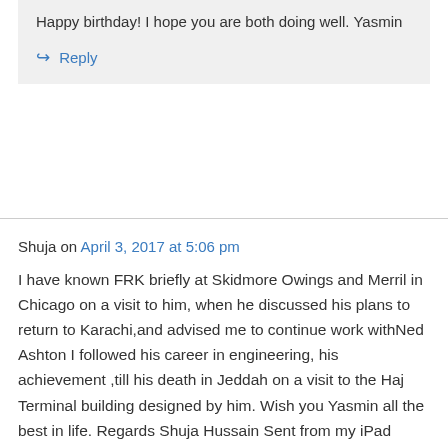Happy birthday! I hope you are both doing well. Yasmin
↪ Reply
Shuja on April 3, 2017 at 5:06 pm
I have known FRK briefly at Skidmore Owings and Merril in Chicago on a visit to him, when he discussed his plans to return to Karachi,and advised me to continue work withNed Ashton I followed his career in engineering, his achievement ,till his death in Jeddah on a visit to the Haj Terminal building designed by him. Wish you Yasmin all the best in life. Regards Shuja Hussain Sent from my iPad